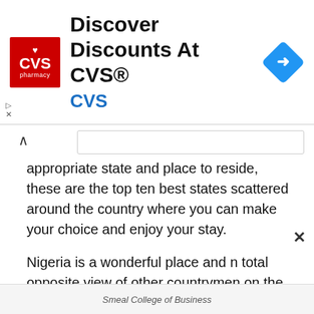[Figure (other): CVS Pharmacy advertisement banner: red CVS logo on left, heading 'Discover Discounts At CVS®' in bold black, 'CVS' in blue below, blue navigation diamond icon on right]
appropriate state and place to reside, these are the top ten best states scattered around the country where you can make your choice and enjoy your stay.
Nigeria is a wonderful place and n total opposite view of other countrymen on the Nigerian states, there are actually a lot of places in the country that are grossly improving in terms of development and you should see. Due to the reporters and media channels in Nigeria who exaggerate out of proportion but there is a need to visit around and you will see something different. If you ever want to settle down in Nigeria or you are in a particular state in Nigeria but not
Smeal College of Business